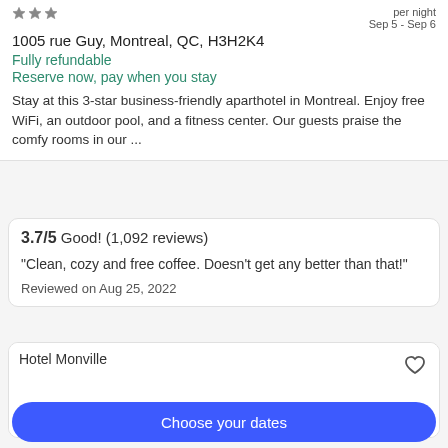1005 rue Guy, Montreal, QC, H3H2K4
per night
Sep 5 - Sep 6
Fully refundable
Reserve now, pay when you stay
Stay at this 3-star business-friendly aparthotel in Montreal. Enjoy free WiFi, an outdoor pool, and a fitness center. Our guests praise the comfy rooms in our ...
3.7/5 Good! (1,092 reviews)
"Clean, cozy and free coffee. Doesn't get any better than that!"
Reviewed on Aug 25, 2022
[Figure (photo): Hotel Monville hotel listing card with placeholder image and heart/favorite icon]
Choose your dates